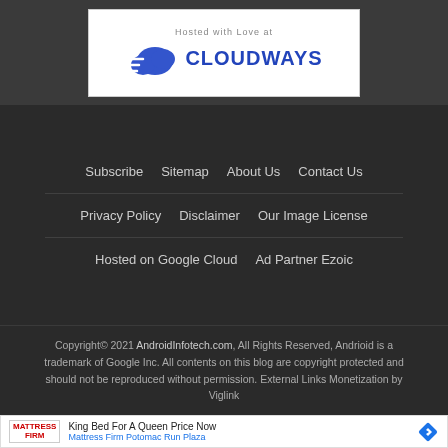[Figure (logo): Cloudways hosting logo with cloud icon and text 'Hosted with Love at CLOUDWAYS']
Subscribe
Sitemap
About Us
Contact Us
Privacy Policy
Disclaimer
Our Image License
Hosted on Google Cloud
Ad Partner Ezoic
Copyright© 2021 AndroidInfotech.com, All Rights Reserved, Andrioid is a trademark of Google Inc. All contents on this blog are copyright protected and should not be reproduced without permission. External Links Monetization by Viglink
[Figure (infographic): Advertisement for Mattress Firm - King Bed For A Queen Price Now, Mattress Firm Potomac Run Plaza]